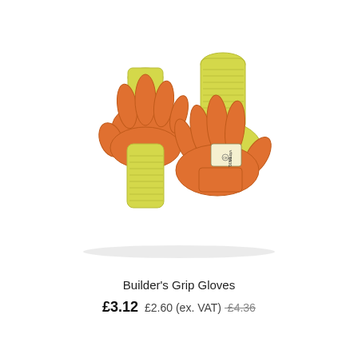[Figure (photo): Two builder's grip gloves with orange latex palm coating and yellow knitted back, displayed overlapping each other. The gloves show 'Vitrex' branding and size markings '10/XL' on the back.]
Builder's Grip Gloves
£3.12 £2.60 (ex. VAT) £4.36